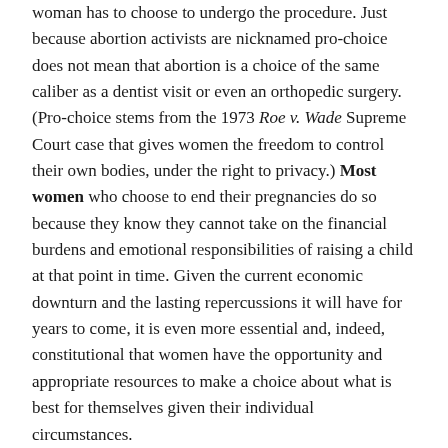woman has to choose to undergo the procedure. Just because abortion activists are nicknamed pro-choice does not mean that abortion is a choice of the same caliber as a dentist visit or even an orthopedic surgery. (Pro-choice stems from the 1973 Roe v. Wade Supreme Court case that gives women the freedom to control their own bodies, under the right to privacy.) Most women who choose to end their pregnancies do so because they know they cannot take on the financial burdens and emotional responsibilities of raising a child at that point in time. Given the current economic downturn and the lasting repercussions it will have for years to come, it is even more essential and, indeed, constitutional that women have the opportunity and appropriate resources to make a choice about what is best for themselves given their individual circumstances.
Moreover, Texas officials' categorization of abortions as non-time sensitive is inconsistent with medical facts and hides glaring public health disadvantages of banning or postponing these procedures.
The longer a woman waits for an abortion, the more she puts